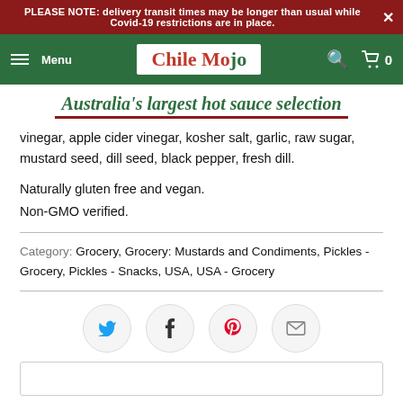PLEASE NOTE: delivery transit times may be longer than usual while Covid-19 restrictions are in place.
[Figure (logo): Chile Mojo website navigation bar with hamburger menu, logo, search and cart icons on green background]
Australia's largest hot sauce selection
vinegar, apple cider vinegar, kosher salt, garlic, raw sugar, mustard seed, dill seed, black pepper, fresh dill.
Naturally gluten free and vegan.
Non-GMO verified.
Category: Grocery, Grocery: Mustards and Condiments, Pickles - Grocery, Pickles - Snacks, USA, USA - Grocery
[Figure (infographic): Social share buttons: Twitter, Facebook, Pinterest, Email]